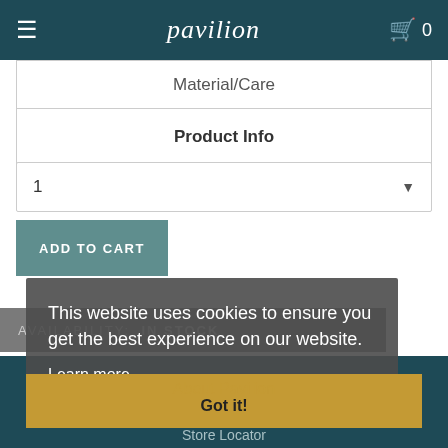pavilion  0
Material/Care
Product Info
1
ADD TO CART
AVAILABILITY: IN STOCK
This website uses cookies to ensure you get the best experience on our website.
Learn more
About Pavilion
Got it!
Our Story
Store Locator
Events